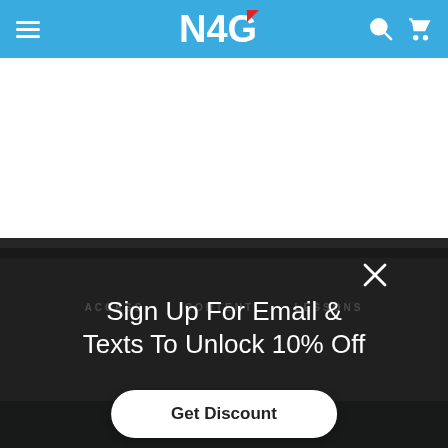N4G — Navigation header with menu, logo, search, and cart icons
[Figure (photo): Three students sitting together at computers, wearing headphones, looking at monitors in a classroom or lab setting]
ACCESS    CONTENT    LESSONS
Sign Up For Email & Texts To Unlock 10% Off
Get Discount
Web Scraping in...ntals
ADD TO CART ($35)